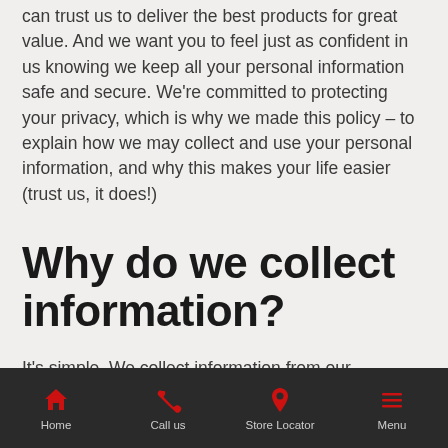can trust us to deliver the best products for great value. And we want you to feel just as confident in us knowing we keep all your personal information safe and secure. We're committed to protecting your privacy, which is why we made this policy – to explain how we may collect and use your personal information, and why this makes your life easier (trust us, it does!)
Why do we collect information?
It's simple. We collect information from our customers to help us
Home | Call us | Store Locator | Menu